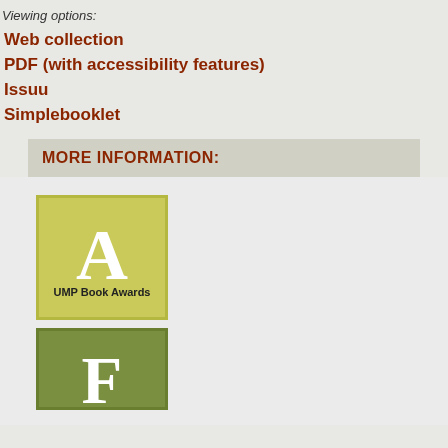Viewing options:
Web collection
PDF (with accessibility features)
Issuu
Simplebooklet
MORE INFORMATION:
[Figure (logo): Yellow-green square badge with large white letter A and text 'UMP Book Awards']
[Figure (logo): Olive green square badge with large white letter F, partially visible]